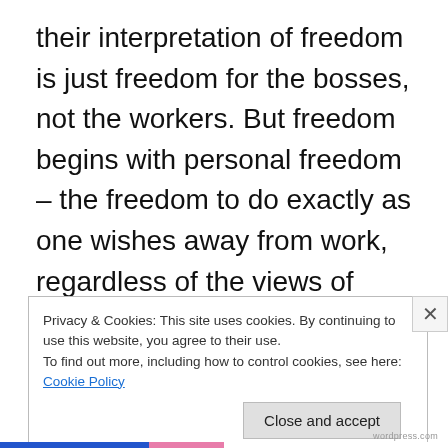their interpretation of freedom is just freedom for the bosses, not the workers. But freedom begins with personal freedom – the freedom to do exactly as one wishes away from work, regardless of the views of one's master, and not to be tied to one employer. Haqiqatjou, it seems, would like to end that, just as he would like to end secular law and government.
Privacy & Cookies: This site uses cookies. By continuing to use this website, you agree to their use.
To find out more, including how to control cookies, see here: Cookie Policy